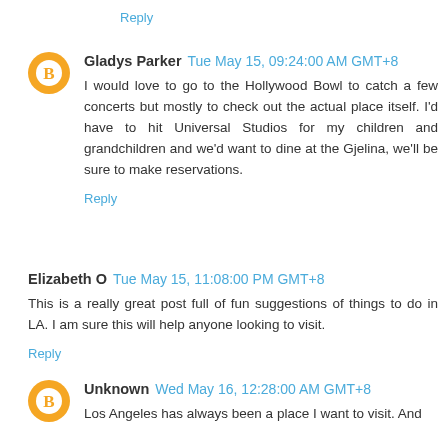Reply
Gladys Parker  Tue May 15, 09:24:00 AM GMT+8
I would love to go to the Hollywood Bowl to catch a few concerts but mostly to check out the actual place itself. I'd have to hit Universal Studios for my children and grandchildren and we'd want to dine at the Gjelina, we'll be sure to make reservations.
Reply
Elizabeth O  Tue May 15, 11:08:00 PM GMT+8
This is a really great post full of fun suggestions of things to do in LA. I am sure this will help anyone looking to visit.
Reply
Unknown  Wed May 16, 12:28:00 AM GMT+8
Los Angeles has always been a place I want to visit. And